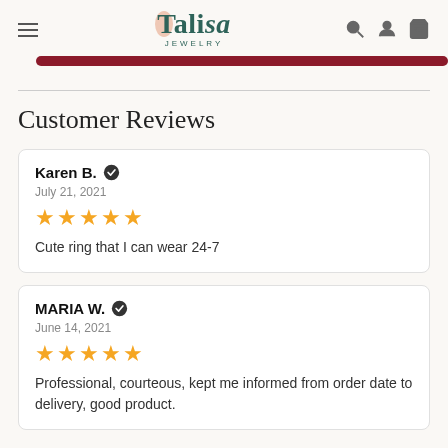Talisa Jewelry
Customer Reviews
Karen B. ✔
July 21, 2021
★★★★★
Cute ring that I can wear 24-7
MARIA W. ✔
June 14, 2021
★★★★★
Professional, courteous, kept me informed from order date to delivery, good product.